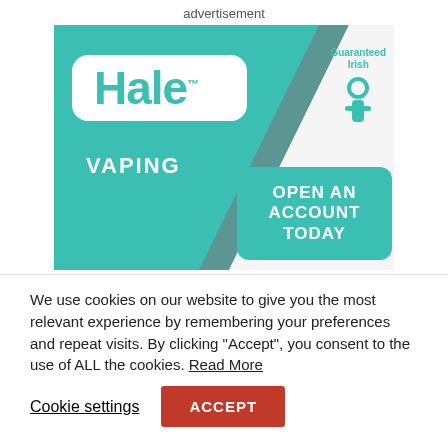advertisement
[Figure (illustration): Hale Vaping advertisement banner with teal geometric design, Hale logo in white rounded rectangle, VAPING text, Guaranteed Irish logo, and 'OPEN AN ACCOUNT TODAY' teal button.]
We use cookies on our website to give you the most relevant experience by remembering your preferences and repeat visits. By clicking “Accept”, you consent to the use of ALL the cookies. Read More
Cookie settings
ACCEPT